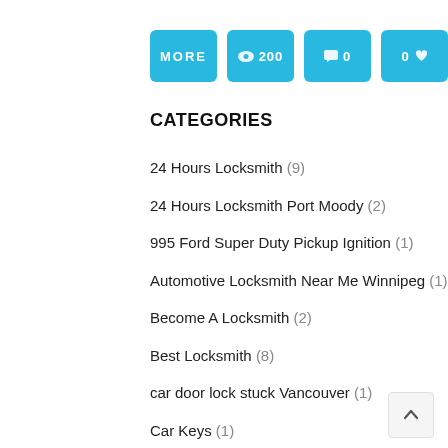[Figure (infographic): Four cyan/light-blue buttons in a row: MORE, eye-icon 200, chat-icon 0, 0 heart-icon]
CATEGORIES
24 Hours Locksmith (9)
24 Hours Locksmith Port Moody (2)
995 Ford Super Duty Pickup Ignition (1)
Automotive Locksmith Near Me Winnipeg (1)
Become A Locksmith (2)
Best Locksmith (8)
car door lock stuck Vancouver (1)
Car Keys (1)